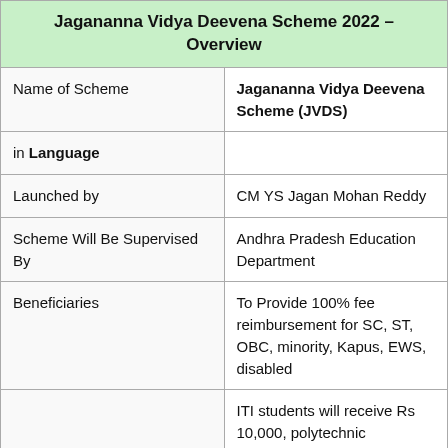|  |  |
| --- | --- |
| Jagananna Vidya Deevena Scheme 2022 – Overview |  |
| Name of Scheme | Jagananna Vidya Deevena Scheme (JVDS) |
| in Language |  |
| Launched by | CM YS Jagan Mohan Reddy |
| Scheme Will Be Supervised By | Andhra Pradesh Education Department |
| Beneficiaries | To Provide 100% fee reimbursement for SC, ST, OBC, minority, Kapus, EWS, disabled |
|  | ITI students will receive Rs 10,000, polytechnic |